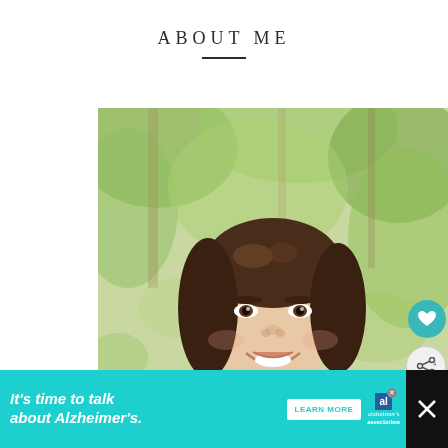ABOUT ME
[Figure (photo): Portrait photo of a young woman with long dark hair smiling, outdoors with blurred green tree background.]
[Figure (infographic): Social interaction buttons: heart/love button (teal) and share button (light gray) overlaid on right side of photo.]
WHAT'S NEXT → How to Plant, Grow and...
It's time to talk about Alzheimer's. LEARN MORE